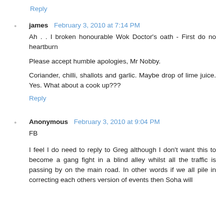Reply
james  February 3, 2010 at 7:14 PM
Ah . . I broken honourable Wok Doctor's oath - First do no heartburn
Please accept humble apologies, Mr Nobby.
Coriander, chilli, shallots and garlic. Maybe drop of lime juice. Yes. What about a cook up???
Reply
Anonymous  February 3, 2010 at 9:04 PM
FB
I feel I do need to reply to Greg although I don't want this to become a gang fight in a blind alley whilst all the traffic is passing by on the main road. In other words if we all pile in correcting each others version of events then Soha will